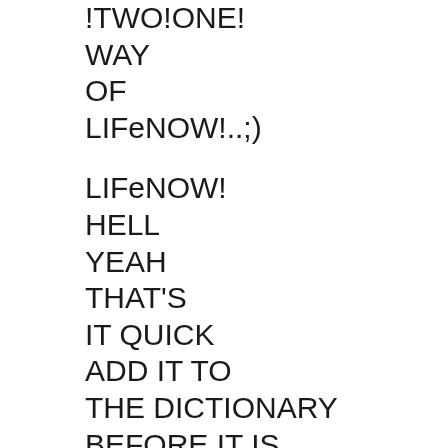!TWO!ONE!
WAY
OF
LIFeNOW!..;)

LIFeNOW!
HELL
YEAH
THAT'S
IT QUICK
ADD IT TO
THE DICTIONARY
BEFORE IT IS
TOO LATE
NOW
TO
LIVE